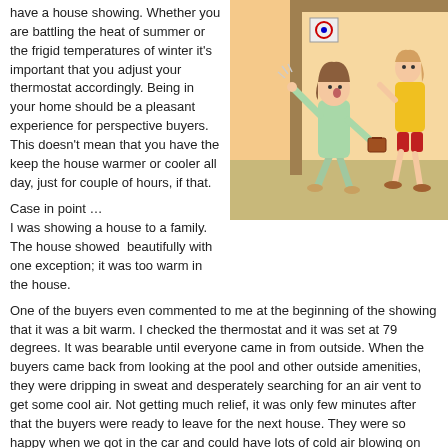have a house showing. Whether you are battling the heat of summer or the frigid temperatures of winter it's important that you adjust your thermostat accordingly. Being in your home should be a pleasant experience for perspective buyers. This doesn't mean that you have the keep the house warmer or cooler all day, just for couple of hours, if that.
[Figure (illustration): Cartoon illustration of a real estate agent (woman in light green suit) showing a house to buyers, with a thermostat visible on the wall. People appear too warm.]
Case in point …
I was showing a house to a family. The house showed beautifully with one exception; it was too warm in the house. One of the buyers even commented to me at the beginning of the showing that it was a bit warm. I checked the thermostat and it was set at 79 degrees. It was bearable until everyone came in from outside. When the buyers came back from looking at the pool and other outside amenities, they were dripping in sweat and desperately searching for an air vent to get some cool air. Not getting much relief, it was only few minutes after that the buyers were ready to leave for the next house. They were so happy when we got in the car and could have lots of cold air blowing on them.
(more…)
Tags: adjust your thermostat, showing home for sale, temperature in home
Posted in Amazing Atmosphere | No Comments »